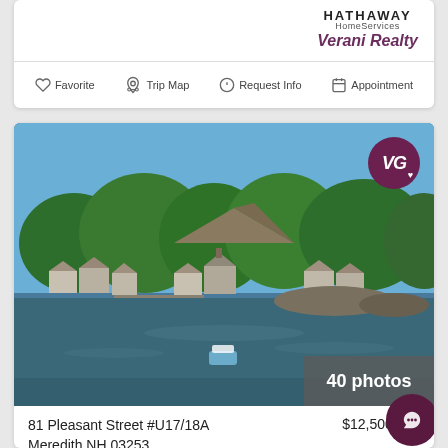[Figure (logo): Berkshire Hathaway HomeServices Verani Realty logo in top-right of first card]
Favorite  Trip Map  Request Info  Appointment
[Figure (photo): Aerial waterfront view of lakeside homes with trees and lake in foreground, VG logo badge, 40 photos badge]
81 Pleasant Street #U17/18A  $12,500,000
Meredith NH 03253